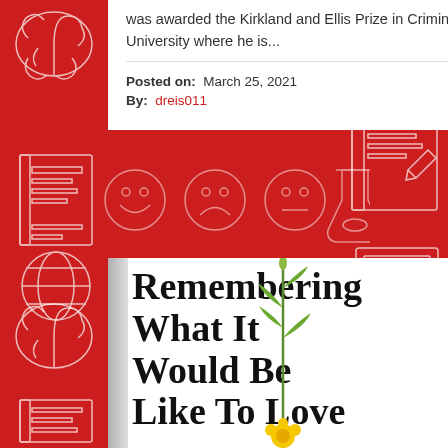was awarded the Kirkland and Ellis Prize in Criminal Law at Northwestern University where he is...
Posted on: March 25, 2021
By: dreis011
[Figure (illustration): Book cover of 'Remembering What It Would Be Like To Love' with a yellow flower/dandelion stem running vertically through the white cover. Large serif black text displays the title across multiple lines.]